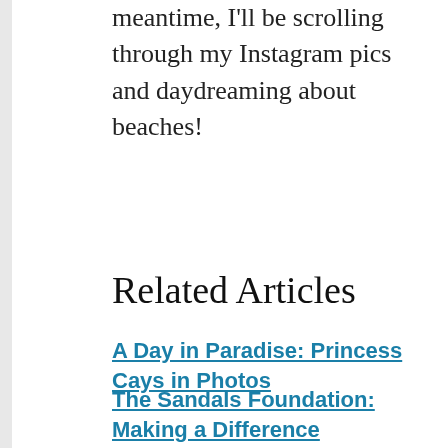meantime, I'll be scrolling through my Instagram pics and daydreaming about beaches!
Related Articles
A Day in Paradise: Princess Cays in Photos
The Sandals Foundation: Making a Difference